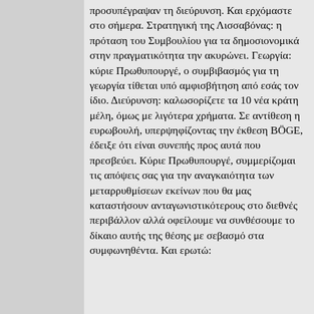προσυπέγραψαν τη διεύρυνση. Και ερχόμαστε στο σήμερα. Στρατηγική της Λισσαβόνας: η πρόταση του Συμβουλίου για τα δημοσιονομικά στην πραγματικότητα την ακυρώνει. Γεωργία: κύριε Πρωθυπουργέ, ο συμβιβασμός για τη γεωργία τίθεται υπό αμφισβήτηση από εσάς τον ίδιο. Διεύρυνση: καλωσορίζετε τα 10 νέα κράτη μέλη, όμως με λιγότερα χρήματα. Σε αντίθεση η ευρωβουλή, υπερψηφίζοντας την έκθεση BÖGE, έδειξε ότι είναι συνεπής προς αυτά που πρεσβεύει. Κύριε Πρωθυπουργέ, συμμερίζομαι τις απόψεις σας για την αναγκαιότητα των μεταρρυθμίσεων εκείνων που θα μας καταστήσουν ανταγωνιστικότερους στο διεθνές περιβάλλον αλλά οφείλουμε να συνθέσουμε το δίκαιο αυτής της θέσης με σεβασμό στα συμφωνηθέντα. Και ερωτώ: